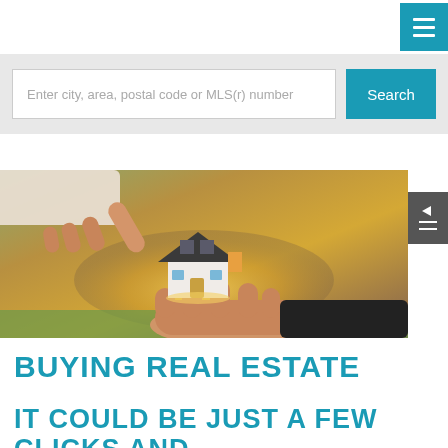Enter city, area, postal code or MLS(r) number
Search
[Figure (photo): Two hands exchanging a miniature model house — one hand pointing from above, one hand holding it from below — with a warm glowing background suggesting a real estate transaction.]
BUYING REAL ESTATE
IT COULD BE JUST A FEW CLICKS AND